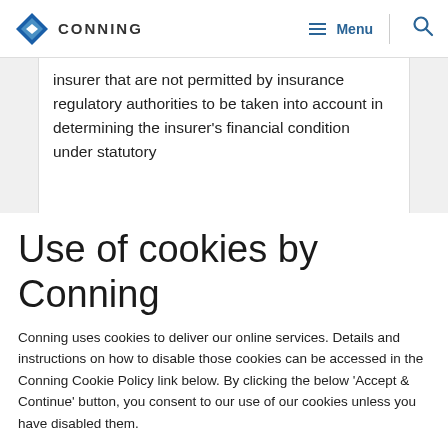CONNING — Menu [navigation header]
insurer that are not permitted by insurance regulatory authorities to be taken into account in determining the insurer's financial condition under statutory
Use of cookies by Conning
Conning uses cookies to deliver our online services. Details and instructions on how to disable those cookies can be accessed in the Conning Cookie Policy link below. By clicking the below 'Accept & Continue' button, you consent to our use of our cookies unless you have disabled them.
Cookie Policy
Accept & Continue